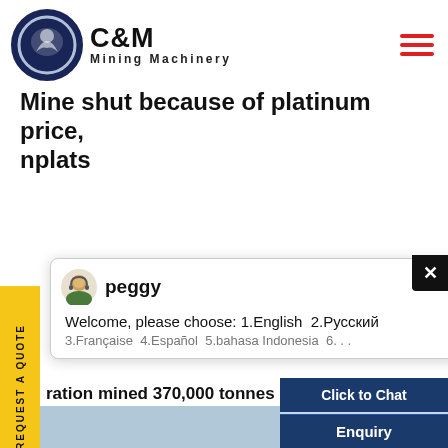[Figure (logo): C&M Mining Machinery logo with eagle/gear emblem in navy blue circle, text 'C&M Mining Machinery']
Mine shut because of platinum price, nplats
REQUEST A QUOTE
[Figure (screenshot): Chat popup with avatar 'peggy', message: Welcome, please choose: 1.English 2.Русский 3.Française 4.Español 5.bahasa Indonesia 6...]
ration mined 370,000 tonnes d...
[Figure (photo): Photo of mining site with industrial equipment and flat landscape]
[Figure (photo): Customer service representative with headset smiling, with cyan badge showing '1']
Click to Chat
Enquiry